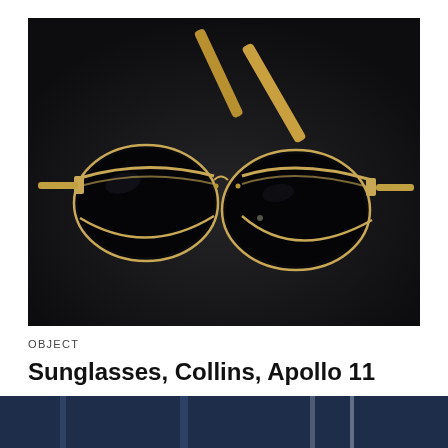[Figure (photo): Aviator-style sunglasses with gold metal frames and dark lenses, laid open on a dark background. The temples are amber/tortoise colored. The sunglasses belonged to Michael Collins of Apollo 11.]
OBJECT
Sunglasses, Collins, Apollo 11
[Figure (photo): Partial bottom strip showing what appears to be a dark blue background with partial view of another object or exhibit item.]